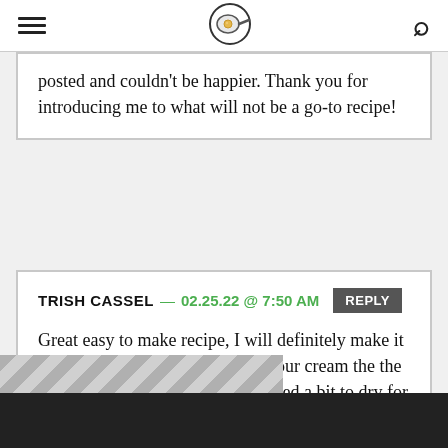Recipe website header with hamburger menu, frying pan logo, and search icon
posted and couldn't be happier. Thank you for introducing me to what will not be a go-to recipe!
TRISH CASSEL — 02.25.22 @ 7:50 AM REPLY
Great easy to make recipe, I will definitely make it again. I did add a tablespoon of sour cream the the mix, because I felt the filling looked a bit to dry for my liking.